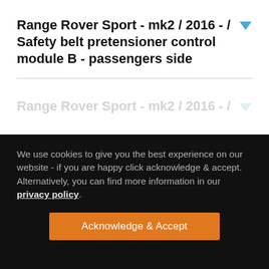Range Rover Sport - mk2 / 2016 - / Safety belt pretensioner control module B - passengers side
Range Rover Sport - mk2 / 2016 - /
We use cookies to give you the best experience on our website - if you are happy click acknowledge & accept. Alternatively, you can find more information in our privacy policy.